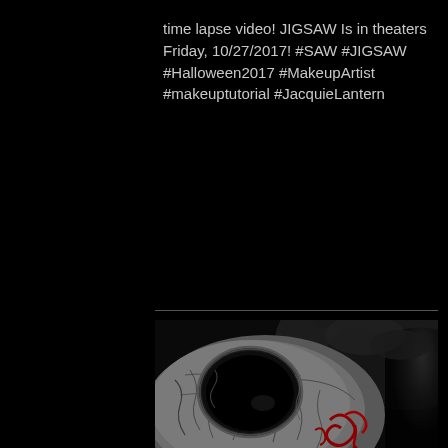time lapse video! JIGSAW Is in theaters Friday, 10/27/2017! #SAW #JIGSAW #Halloween2017 #MakeupArtist #makeuptutorial #JacquieLantern
[Figure (photo): Close-up photo of a horror movie mask (Jigsaw/Billy puppet style) — a cracked, distressed white and grey ceramic-like face with a large hollow black eye socket and red spiral/blood marks, shot from close angle against dark background.]